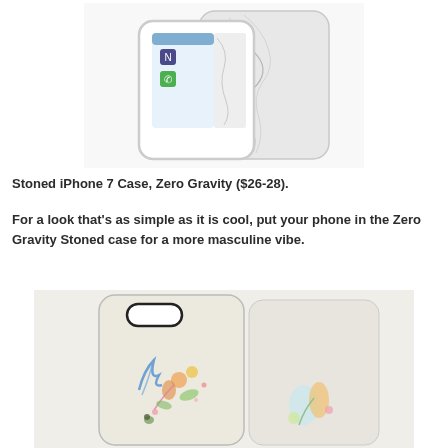[Figure (photo): Two marble-patterned iPhone 7 cases with clear/white bumpers showing white marble texture with grey veining, one showing the phone screen with iOS icons]
Stoned iPhone 7 Case, Zero Gravity ($26-28).
For a look that’s as simple as it is cool, put your phone in the Zero Gravity Stoned case for a more masculine vibe.
[Figure (photo): Two white iPhone cases with painted floral watercolor design featuring colorful flowers and botanicals on a white/cream textured background, shown on a neutral surface]